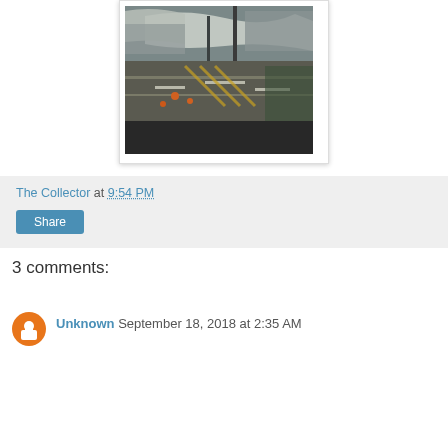[Figure (photo): Aerial or elevated view of an airport terminal/taxiway area with white canopy roof structures, roads, and runway markings visible. Workers or equipment visible on the tarmac.]
The Collector at 9:54 PM
Share
3 comments:
Unknown September 18, 2018 at 2:35 AM